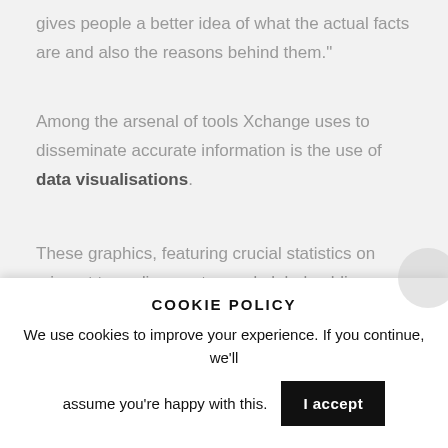gives people a better idea of what the actual facts are and also the reasons behind them."
Among the arsenal of tools Xchange uses to disseminate accurate information is the use of data visualisations.
These graphics, featuring crucial statistics on migrant tragedies, routes and global public perceptions towards migrants, present in detail the realities facing refugees in Europe and further afield in 2017.
Alongside the raw data, Xchange delves into the
COOKIE POLICY
We use cookies to improve your experience. If you continue, we'll assume you're happy with this.